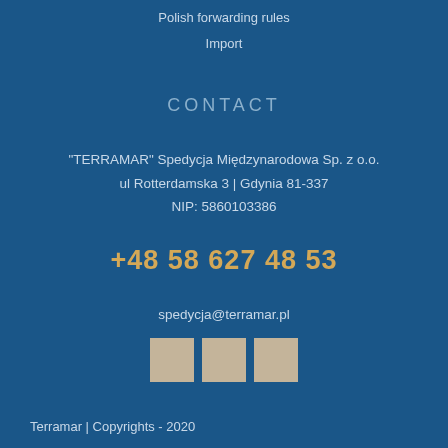Polish forwarding rules
Import
CONTACT
"TERRAMAR" Spedycja Międzynarodowa Sp. z o.o.
ul Rotterdamska 3 | Gdynia 81-337
NIP: 5860103386
+48 58 627 48 53
spedycja@terramar.pl
[Figure (other): Three social media icon squares in beige/tan color]
Terramar | Copyrights - 2020